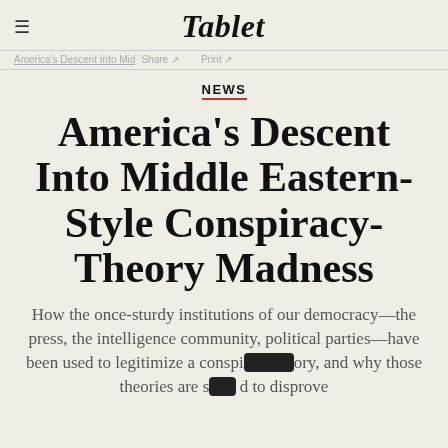≡  Tablet
America's Descent Into Mid  Share ↗  Print ↗
NEWS
America's Descent Into Middle Eastern-Style Conspiracy-Theory Madness
How the once-sturdy institutions of our democracy—the press, the intelligence community, political parties—have been used to legitimize a conspiracy theory, and why those theories are so hard to disprove